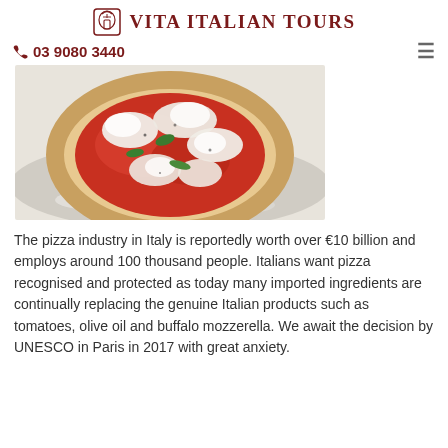VITA ITALIAN TOURS
☎ 03 9080 3440
[Figure (photo): A Margherita-style pizza with tomato sauce, mozzarella, and basil leaves on a round stone or flour-dusted surface.]
The pizza industry in Italy is reportedly worth over €10 billion and employs around 100 thousand people. Italians want pizza recognised and protected as today many imported ingredients are continually replacing the genuine Italian products such as tomatoes, olive oil and buffalo mozzerella. We await the decision by UNESCO in Paris in 2017 with great anxiety.